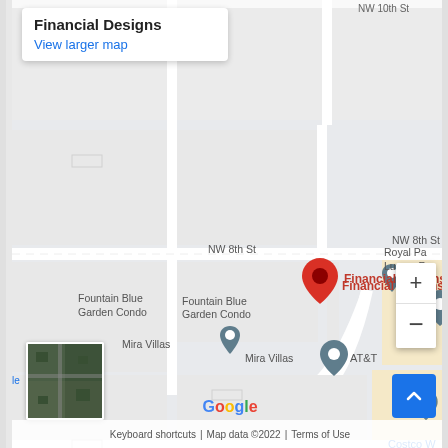[Figure (map): Google Maps view showing Financial Designs location near NW 8th St and NW 82nd Ave area, with markers for Fountain Blue Garden Condo, Mira Villas, AT&T, and a red pin for Financial Designs. Shows Royal Pa Luxury Re, Garc, Costco W partially visible on right edge.]
Financial Designs
View larger map
NW 8th St
Fountain Blue Garden Condo
Financial Designs
Mira Villas
AT&T
Royal Pa Luxury Re
Garc The
Costco W
NW 82nd Ave
M C
Keyboard shortcuts | Map data ©2022 | Terms of Use